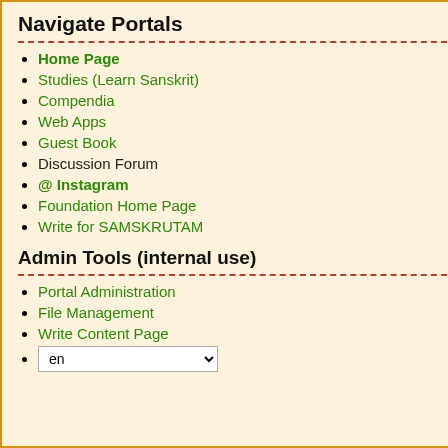Navigate Portals
Home Page
Studies (Learn Sanskrit)
Compendia
Web Apps
Guest Book
Discussion Forum
@ Instagram
Foundation Home Page
Write for SAMSKRUTAM
Admin Tools (internal use)
Portal Administration
File Management
Write Content Page
en (language selector)
| English | Sanskrit |
| --- | --- |
| 1. The boy goes to school to read. | baalakaH paThi... vidyaalaya.n... gachchhati |
| 2. Father wants to go to village. | pitaa graama.n... gantum ichh... |
| 3. The girl went to school to study. | baalaa paThitu... vidyaalam agachchhat |
| 4. Mother wants to cook. | maataa paktu... ichchhati |
| 5. He goes to city to work. | saH kaanya.n... |